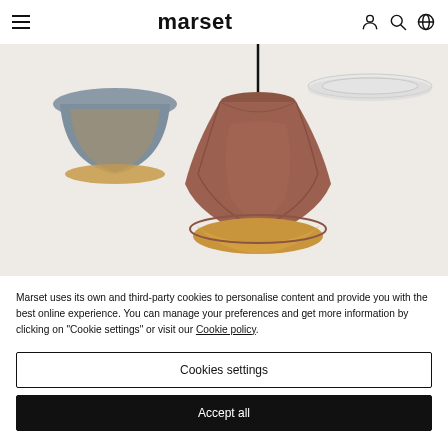marset
[Figure (photo): Photograph of pendant lamps from Marset brand: a terracotta/rust-colored faceted pendant lamp with gold interior in the center, a smaller blue-grey lamp with gold interior to the left, and a white ring lamp partially visible at the top right. Dark cord hangs from ceiling. Background is light warm grey.]
Marset uses its own and third-party cookies to personalise content and provide you with the best online experience. You can manage your preferences and get more information by clicking on "Cookie settings" or visit our Cookie policy.
Cookies settings
Accept all